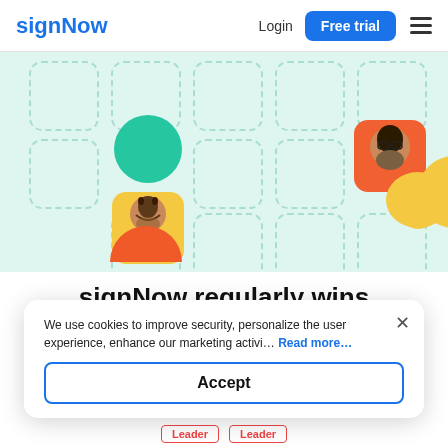signNow | Login | Free trial
[Figure (illustration): Light teal background with dashed rounded square grid pattern. A teal circle, a yellow rounded square with a man's photo, an orange semicircle on the left, a woman's photo in an orange rounded square on the right, and a yellow speech bubble shape on the right.]
signNow regularly wins
We use cookies to improve security, personalize the user experience, enhance our marketing activi... Read more...
Accept
Leader   Leader